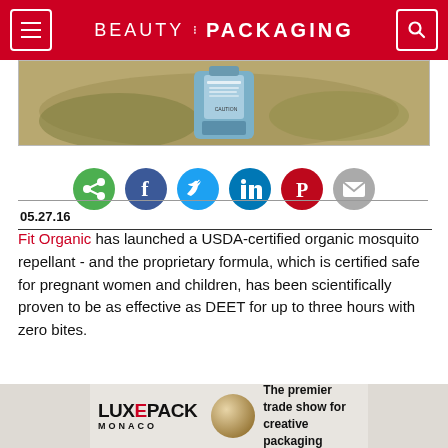BEAUTY PACKAGING
[Figure (photo): Product photo showing a blue mosquito repellant bottle on natural/mossy background]
[Figure (infographic): Social sharing icons row: share (green), facebook (dark blue), twitter (blue), linkedin (blue), pinterest (red), email (gray)]
05.27.16
Fit Organic has launched a USDA-certified organic mosquito repellant - and the proprietary formula, which is certified safe for pregnant women and children, has been scientifically proven to be as effective as DEET for up to three hours with zero bites.
[Figure (infographic): Luxe Pack Monaco advertisement banner - The premier trade show for creative packaging]